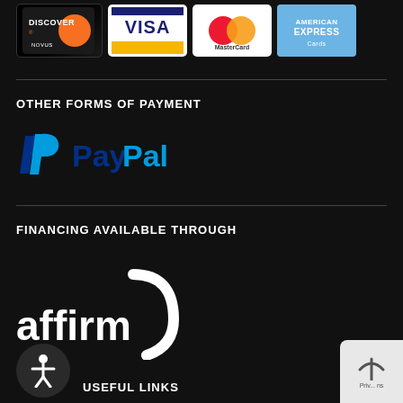[Figure (logo): Credit card logos: Discover Novus, Visa, MasterCard, American Express Cards]
OTHER FORMS OF PAYMENT
[Figure (logo): PayPal logo with blue P icon and PayPal text in blue and cyan]
FINANCING AVAILABLE THROUGH
[Figure (logo): Affirm logo in white with arch icon]
USEFUL LINKS